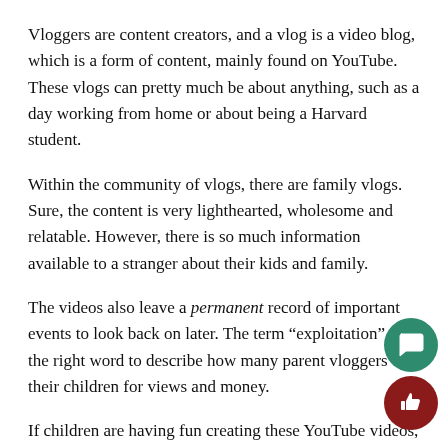Vloggers are content creators, and a vlog is a video blog, which is a form of content, mainly found on YouTube. These vlogs can pretty much be about anything, such as a day working from home or about being a Harvard student.
Within the community of vlogs, there are family vlogs. Sure, the content is very lighthearted, wholesome and relatable. However, there is so much information available to a stranger about their kids and family.
The videos also leave a permanent record of important events to look back on later. The term “exploitation” is the right word to describe how many parent vloggers use their children for views and money.
If children are having fun creating these YouTube videos, then what is the harm? To answer that question, we need to get one thing out of the way: what a child likes or thinks they like is based on an immature understanding of the